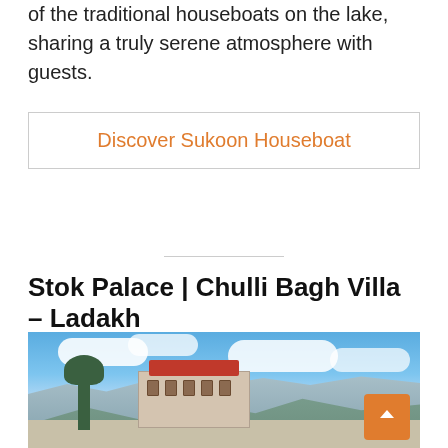of the traditional houseboats on the lake, sharing a truly serene atmosphere with guests.
Discover Sukoon Houseboat
Stok Palace | Chulli Bagh Villa – Ladakh
[Figure (photo): Photo of Stok Palace in Ladakh with mountains and blue sky with clouds in the background, trees and buildings in the foreground]